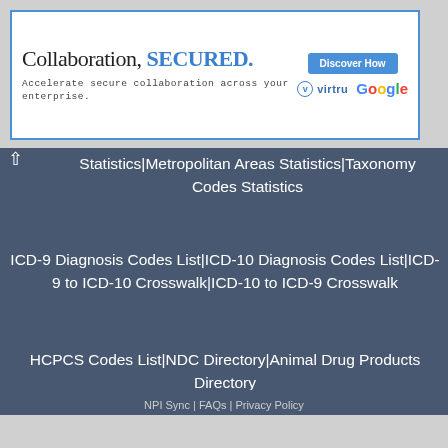[Figure (other): Advertisement banner: Collaboration, SECURED. Accelerate secure collaboration across your enterprise. With Virtru and Google logos and a Discover How button.]
Statistics|Metropolitan Areas Statistics|Taxonomy Codes Statistics
ICD-9 Diagnosis Codes List|ICD-10 Diagnosis Codes List|ICD-9 to ICD-10 Crosswalk|ICD-10 to ICD-9 Crosswalk
HCPCS Codes List|NDC Directory|Animal Drug Products Directory
NPI Sync | FAQs | Privacy Policy Terms of Service | Disclaimer